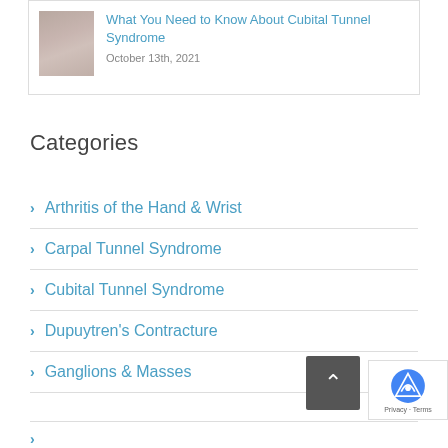What You Need to Know About Cubital Tunnel Syndrome
October 13th, 2021
Categories
Arthritis of the Hand & Wrist
Carpal Tunnel Syndrome
Cubital Tunnel Syndrome
Dupuytren's Contracture
Ganglions & Masses
General Elbow